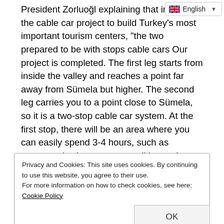President Zorluoğl explaining that in [cut off], the cable car project to build Turkey's most important tourism centers, "the two prepared to be with stops cable cars Our project is completed. The first leg starts from inside the valley and reaches a point far away from Sümela but higher. The second leg carries you to a point close to Sümela, so it is a two-stop cable car system. At the first stop, there will be an area where you can easily spend 3-4 hours, such as scenery, viewing terraces, walking paths, restaurants, which offer completely different beauties. You can get on the cable car again and from there it takes you off at a very close point to the Sumela Monastery, which we call the second leg, and from there you go to Sumela ".
Privacy and Cookies: This site uses cookies. By continuing to use this website, you agree to their use.
For more information on how to check cookies, see here: Cookie Policy
OK
Maçka district of Trabzon, on the Kara hill and at an altitude of